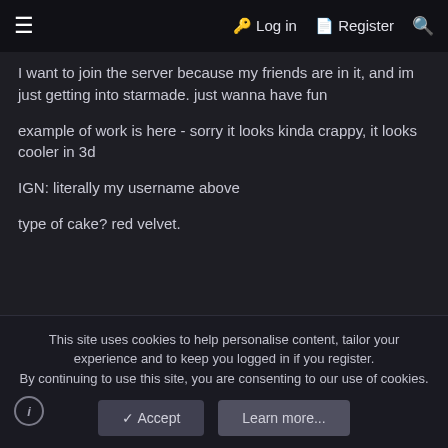≡  Log in  Register  🔍
I want to join the server because my friends are in it, and im just getting into starmade. just wanna have fun
example of work is here - sorry it looks kinda crappy, it looks cooler in 3d
IGN: literally my username above
type of cake? red velvet.
Attachments
[Figure (photo): Small thumbnail of a dark image with colorful streaks, shown inside an attachment preview box.]
This site uses cookies to help personalise content, tailor your experience and to keep you logged in if you register.
By continuing to use this site, you are consenting to our use of cookies.